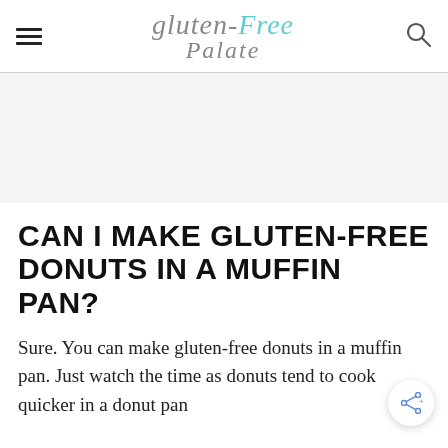Gluten-Free Palate
CAN I MAKE GLUTEN-FREE DONUTS IN A MUFFIN PAN?
Sure. You can make gluten-free donuts in a muffin pan. Just watch the time as donuts tend to cook quicker in a donut pan.